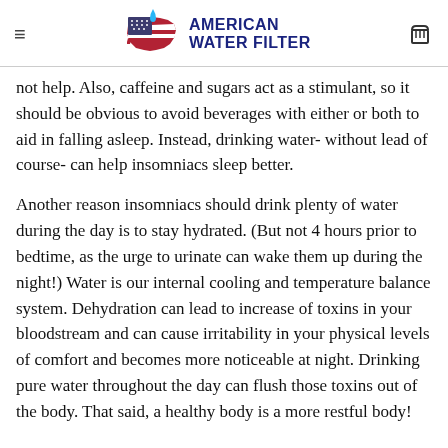American Water Filter
not help. Also, caffeine and sugars act as a stimulant, so it should be obvious to avoid beverages with either or both to aid in falling asleep. Instead, drinking water- without lead of course- can help insomniacs sleep better.
Another reason insomniacs should drink plenty of water during the day is to stay hydrated. (But not 4 hours prior to bedtime, as the urge to urinate can wake them up during the night!) Water is our internal cooling and temperature balance system. Dehydration can lead to increase of toxins in your bloodstream and can cause irritability in your physical levels of comfort and becomes more noticeable at night. Drinking pure water throughout the day can flush those toxins out of the body. That said, a healthy body is a more restful body!